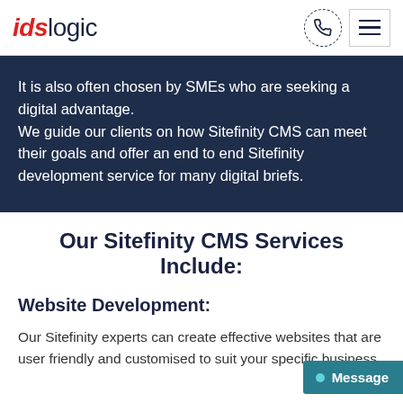idslogic
It is also often chosen by SMEs who are seeking a digital advantage.
We guide our clients on how Sitefinity CMS can meet their goals and offer an end to end Sitefinity development service for many digital briefs.
Our Sitefinity CMS Services Include:
Website Development:
Our Sitefinity experts can create effective websites that are user friendly and customised to suit your specific business